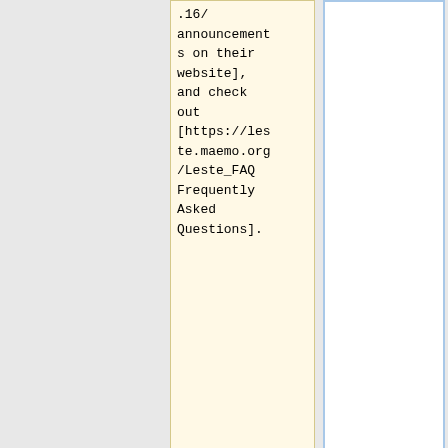.16/announcements on their website], and check out [https://leste.maemo.org/Leste_FAQ Frequently Asked Questions].
'''Download location'''
* LuneOS Preview images: [https://github.com/webOS-ports/meta-pine64-